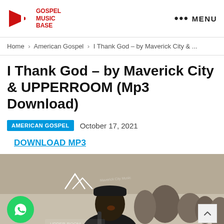GOSPEL MUSIC BASE | MENU
Home > American Gospel > I Thank God – by Maverick City & ...
I Thank God – by Maverick City & UPPERROOM (Mp3 Download)
AMERICAN GOSPEL   October 17, 2021
DOWNLOAD MP3
[Figure (photo): Performance photo of a man in a baseball cap singing into a microphone, with a crowd behind him and a WhatsApp icon overlay in the bottom left, back-to-top button bottom right.]